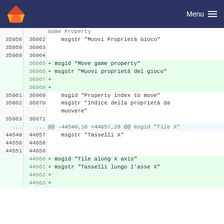GitLab header with logo and Menu button
| old | new | code |
| --- | --- | --- |
|  |  | Game Property |
| 35958 | 36062 |     msgstr "Muovi Proprietà Gioco" |
| 35959 | 36063 |  |
| 35960 | 36064 |  |
|  | 36065 | + msgid "Move game property" |
|  | 36066 | + msgstr "Muovi proprietà del gioco" |
|  | 36067 | + |
|  | 36068 | + |
| 35961 | 36069 |     msgid "Property index to move" |
| 35962 | 36070 |     msgstr "Indice della proprietà da muovere" |
| 35963 | 36071 |  |
| ... | ... | @@ -44549,10 +44657,26 @@ msgid "Tile X" |
| 44549 | 44657 |     msgstr "Tasselli X" |
| 44550 | 44658 |  |
| 44551 | 44659 |  |
|  | 44660 | + msgid "Tile along X axis" |
|  | 44661 | + msgstr "Tasselli lungo l'asse X" |
|  | 44662 | + |
|  | 44663 | + |